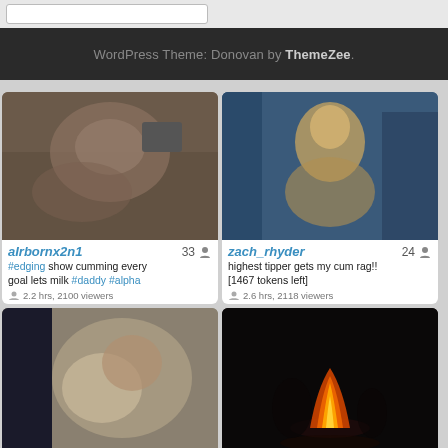WordPress Theme: Donovan by ThemeZee.
[Figure (screenshot): Webcam thumbnail for airbornx2n1]
airbornx2n1   33
#edging show cumming every goal lets milk #daddy #alpha
2.2 hrs, 2100 viewers
[Figure (screenshot): Webcam thumbnail for zach_rhyder]
zach_rhyder   24
highest tipper gets my cum rag!! [1467 tokens left]
2.6 hrs, 2118 viewers
[Figure (screenshot): Webcam thumbnail for frank_rolf]
frank_rolf   20
more interesting in pvt 🎁 every
[Figure (screenshot): Webcam thumbnail for smileszszs - fire/campfire scene]
smileszszs   25
birthday wish [7526 tokens